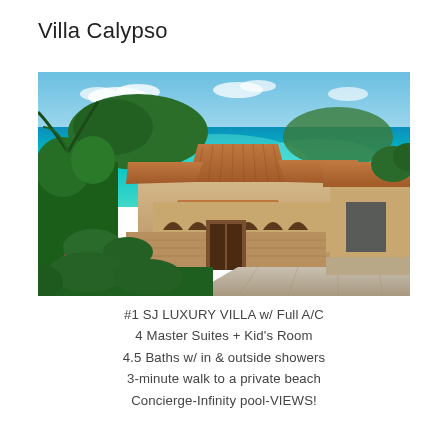Villa Calypso
[Figure (photo): Aerial view of Villa Calypso, a luxury Mediterranean-style villa with terracotta roofs, arched colonnades, lush tropical gardens with pink bougainvillea and palm trees, a courtyard with iron gate, and a stunning turquoise Caribbean sea and green islands in the background under a partly cloudy sky.]
#1 SJ LUXURY VILLA w/ Full A/C
4 Master Suites + Kid's Room
4.5 Baths w/ in & outside showers
3-minute walk to a private beach
Concierge-Infinity pool-VIEWS!